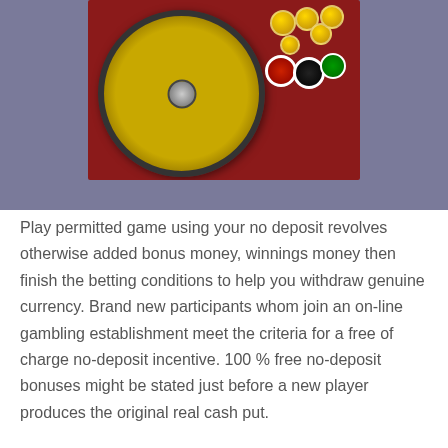[Figure (photo): Casino roulette wheel with playing cards and chips on a red table background, displayed against a gray-blue background]
Play permitted game using your no deposit revolves otherwise added bonus money, winnings money then finish the betting conditions to help you withdraw genuine currency. Brand new participants whom join an on-line gambling establishment meet the criteria for a free of charge no-deposit incentive. 100 % free no-deposit bonuses might be stated just before a new player produces the original real cash put.
In the Online game
The level of playing cost is calculated in the coins...1